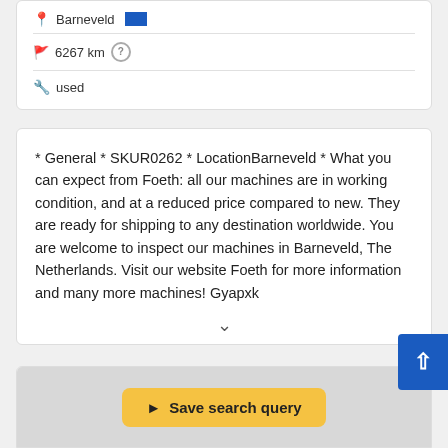Barneveld 🇳🇱 6267 km ? used
* General * SKUR0262 * LocationBarneveld * What you can expect from Foeth: all our machines are in working condition, and at a reduced price compared to new. They are ready for shipping to any destination worldwide. You are welcome to inspect our machines in Barneveld, The Netherlands. Visit our website Foeth for more information and many more machines! Gyapxk
Save search query